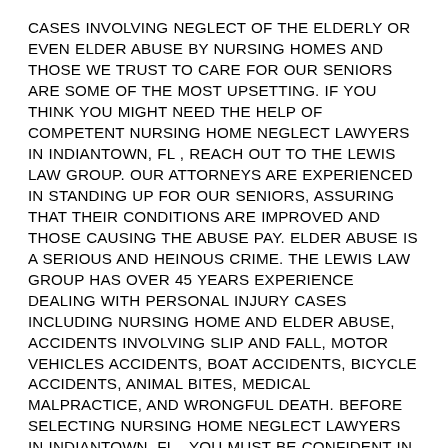CASES INVOLVING NEGLECT OF THE ELDERLY OR EVEN ELDER ABUSE BY NURSING HOMES AND THOSE WE TRUST TO CARE FOR OUR SENIORS ARE SOME OF THE MOST UPSETTING. IF YOU THINK YOU MIGHT NEED THE HELP OF COMPETENT NURSING HOME NEGLECT LAWYERS IN INDIANTOWN, FL , REACH OUT TO THE LEWIS LAW GROUP. OUR ATTORNEYS ARE EXPERIENCED IN STANDING UP FOR OUR SENIORS, ASSURING THAT THEIR CONDITIONS ARE IMPROVED AND THOSE CAUSING THE ABUSE PAY. ELDER ABUSE IS A SERIOUS AND HEINOUS CRIME. THE LEWIS LAW GROUP HAS OVER 45 YEARS EXPERIENCE DEALING WITH PERSONAL INJURY CASES INCLUDING NURSING HOME AND ELDER ABUSE, ACCIDENTS INVOLVING SLIP AND FALL, MOTOR VEHICLES ACCIDENTS, BOAT ACCIDENTS, BICYCLE ACCIDENTS, ANIMAL BITES, MEDICAL MALPRACTICE, AND WRONGFUL DEATH. BEFORE SELECTING NURSING HOME NEGLECT LAWYERS IN INDIANTOWN, FL , YOU MUST BE CONFIDENT IN THE REPUTATION AND EXPERTISE OF THE LAW FIRM MANAGING YOUR CASE. OUR ATTORNEYS ARE THOROUGHLY FAMILIAR WITH THE FEDERAL COURT SYSTEM AND THE COURT SYSTEMS IN ST. LUCIE COUNTY, PALM BEACH COUNTY AND MARTIN COUNTY AS WELL AS THE